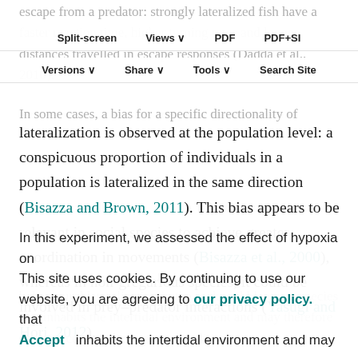escape from a predator: strongly lateralized fish have a faster reaction time, higher turning rates and longer distances travelled in escape responses (Dadda et al., 2010).
Split-screen  Views  PDF  PDF+SI  Versions  Share  Tools  Search Site
In some cases, a bias for a specific directionality of lateralization is observed at the population level: a conspicuous proportion of individuals in a population is lateralized in the same direction (Bisazza and Brown, 2011). This bias appears to be relevant in social species to achieve greater coordination in movements (Bisazza et al., 2000), whereas in non-gregarious species, it could be involved in prey–predator interactions (Yasugi and Hori, 2012).
In this experiment, we assessed the effect of hypoxia on behavioural lateralization in the rockpool blenny, a species that inhabits the intertidal environment and may therefore experience periodic hypoxic conditions.
This site uses cookies. By continuing to use our website, you are agreeing to our privacy policy. Accept